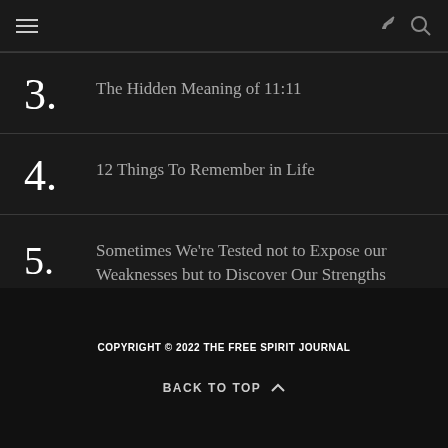navigation header with hamburger menu, share, and search icons
3. The Hidden Meaning of 11:11
4. 12 Things To Remember in Life
5. Sometimes We're Tested not to Expose our Weaknesses but to Discover Our Strengths
COPYRIGHT © 2022 THE FREE SPIRIT JOURNAL
BACK TO TOP